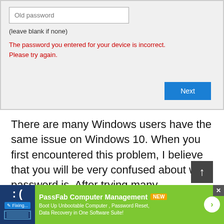[Figure (screenshot): Windows 10 password change dialog showing 'Old password' input field, text '(leave blank if none)', and red error message 'The password you entered for your device is incorrect. Please try again.' with a blue 'Next' button at bottom right.]
There are many Windows users have the same issue on Windows 10. When you first encountered this problem, I believe that you will be very confused about what password is. After trying many passwords or change the password and still ask you to enter old password one last time. Still that is not over, there are also cases of cra...
[Figure (screenshot): Advertisement banner for PassFab Computer Management with green background, showing brand name, NEW badge, and tagline 'Boot Up Unbootable Computer, Password Reset, Data Recovery in One Software Suite!']